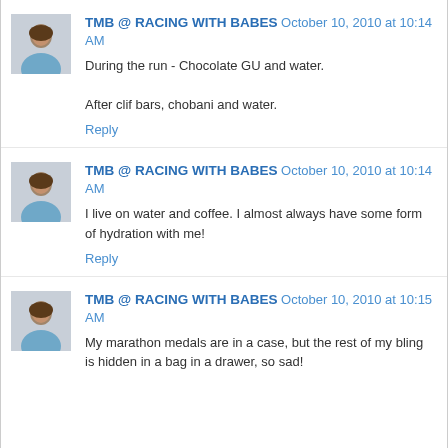TMB @ RACING WITH BABES October 10, 2010 at 10:14 AM
During the run - Chocolate GU and water.

After clif bars, chobani and water.
Reply
[Figure (photo): Avatar photo of TMB a woman in light blue shirt]
TMB @ RACING WITH BABES October 10, 2010 at 10:14 AM
I live on water and coffee. I almost always have some form of hydration with me!
Reply
[Figure (photo): Avatar photo of TMB a woman in light blue shirt]
TMB @ RACING WITH BABES October 10, 2010 at 10:15 AM
My marathon medals are in a case, but the rest of my bling is hidden in a bag in a drawer, so sad!